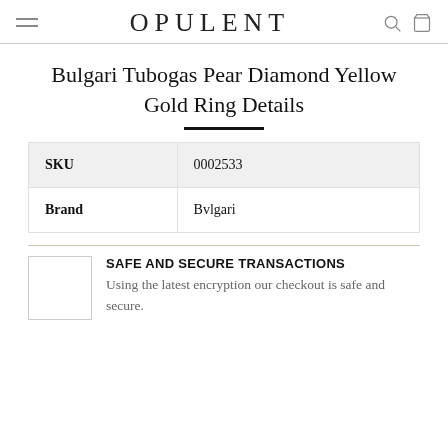OPULENT
Bulgari Tubogas Pear Diamond Yellow Gold Ring Details
|  |  |
| --- | --- |
| SKU | 0002533 |
| Brand | Bvlgari |
SAFE AND SECURE TRANSACTIONS
Using the latest encryption our checkout is safe and secure.